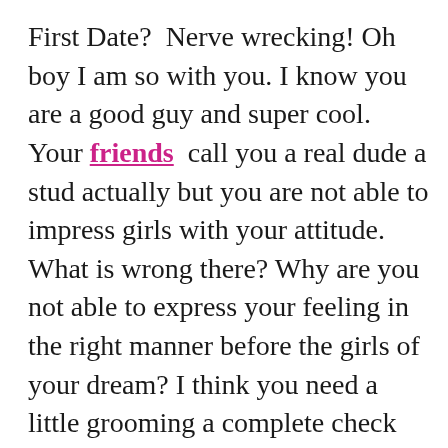First Date?  Nerve wrecking! Oh boy I am so with you. I know you are a good guy and super cool. Your friends  call you a real dude a stud actually but you are not able to impress girls with your attitude. What is wrong there? Why are you not able to express your feeling in the right manner before the girls of your dream? I think you need a little grooming a complete check list of to do list on your first date. And you should also know that it's not the first date which is difficult but getting that second date is a challenge. My list is exclusively